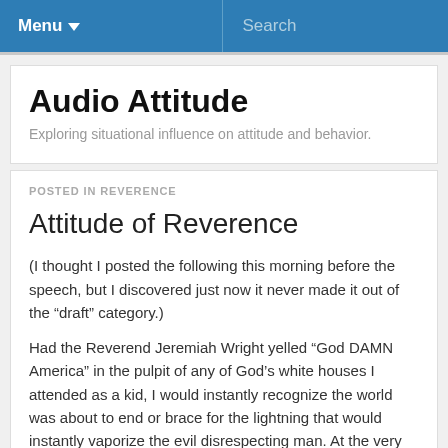Menu  Search
Audio Attitude
Exploring situational influence on attitude and behavior.
POSTED IN REVERENCE
Attitude of Reverence
(I thought I posted the following this morning before the speech, but I discovered just now it never made it out of the “draft” category.)
Had the Reverend Jeremiah Wright yelled “God DAMN America” in the pulpit of any of God’s white houses I attended as a kid, I would instantly recognize the world was about to end or brace for the lightning that would instantly vaporize the evil disrespecting man. At the very least, the incident would take the last breath of half the ancient congregation and bewilder the rest of us suddenly awake in our pews.
Andrew Sullivan wrote an impressive and personal piece that helped